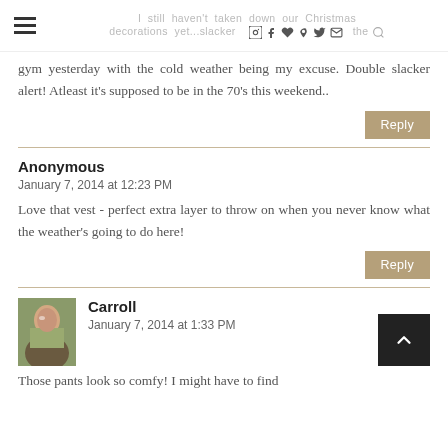I still haven't taken down our Christmas decorations yet...slacker [icons] the gym yesterday with the cold weather being my excuse.
gym yesterday with the cold weather being my excuse. Double slacker alert! Atleast it's supposed to be in the 70's this weekend..
Reply
Anonymous
January 7, 2014 at 12:23 PM
Love that vest - perfect extra layer to throw on when you never know what the weather's going to do here!
Reply
Carroll
January 7, 2014 at 1:33 PM
Those pants look so comfy! I might have to find